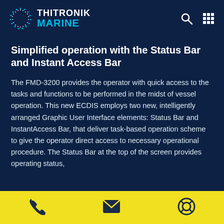THITRONIK MARINE
Simplified operation with the Status Bar and Instant Access Bar
The FMD-3200 provides the operator with quick access to the tasks and functions to be performed in the midst of vessel operation. This new ECDIS employs two new, intelligently arranged Graphic User Interface elements: Status Bar and InstantAccess Bar, that deliver task-based operation scheme to give the operator direct access to necessary operational procedure. The Status Bar at the top of the screen provides operating status,
Contact icons: phone, email, support